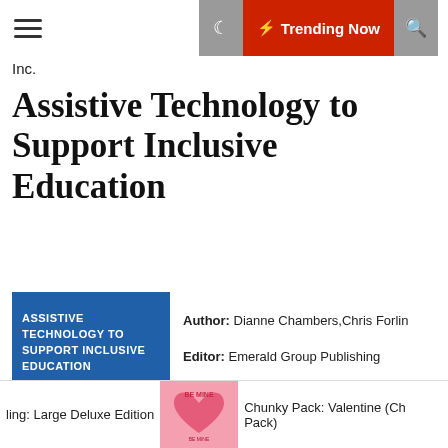Inc.
Assistive Technology to Support Inclusive Education
[Figure (illustration): Book cover for 'Assistive Technology to Support Inclusive Education' — blue gradient cover with title text in white, Series Editor Chris Forlin, Edited by Dianne Chambers, International Perspectives series.]
Author: Dianne Chambers,Chris Forlin
Editor: Emerald Group Publishing
ISBN: 1787695212
FileSize: 1595kb
File Format: Pdf
Read: 1595
READ BOOK
ling: Large Deluxe Edition   Chunky Pack: Valentine (Ch Pack)